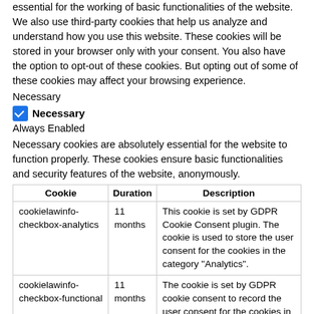essential for the working of basic functionalities of the website. We also use third-party cookies that help us analyze and understand how you use this website. These cookies will be stored in your browser only with your consent. You also have the option to opt-out of these cookies. But opting out of some of these cookies may affect your browsing experience.
Necessary
☑ Necessary
Always Enabled
Necessary cookies are absolutely essential for the website to function properly. These cookies ensure basic functionalities and security features of the website, anonymously.
| Cookie | Duration | Description |
| --- | --- | --- |
| cookielawinfo-checkbox-analytics | 11 months | This cookie is set by GDPR Cookie Consent plugin. The cookie is used to store the user consent for the cookies in the category "Analytics". |
| cookielawinfo-checkbox-functional | 11 months | The cookie is set by GDPR cookie consent to record the user consent for the cookies in the category "Functional". |
| cookielawinfo-checkbox-necessary (partial) | 11 | This cookie is set by GDPR Cookie Consent plugin. The |